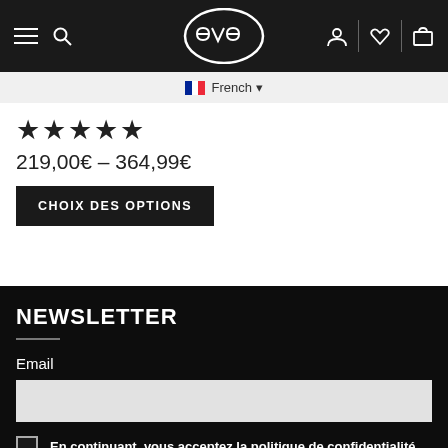[Figure (logo): eve brand logo in white on dark header background with hamburger menu, search icon, user icon, heart icon, and shopping bag icon]
French ▾
★★★★★
219,00€ – 364,99€
CHOIX DES OPTIONS
NEWSLETTER
Email
En continuant, vous acceptez la politique de confidentialité